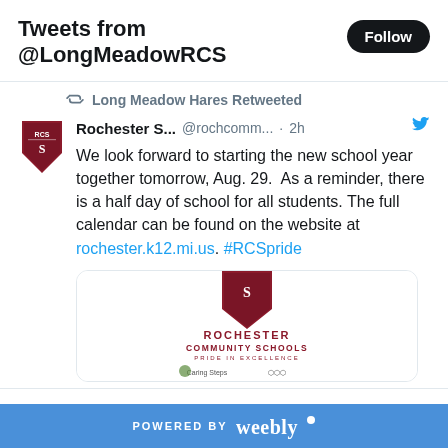Tweets from @LongMeadowRCS
Follow
Long Meadow Hares Retweeted
Rochester S...  @rochcomm...  · 2h
We look forward to starting the new school year together tomorrow, Aug. 29.  As a reminder, there is a half day of school for all students. The full calendar can be found on the website at rochester.k12.mi.us. #RCSpride
[Figure (logo): Rochester Community Schools logo with shield and Caring Steps logos below]
POWERED BY weebly